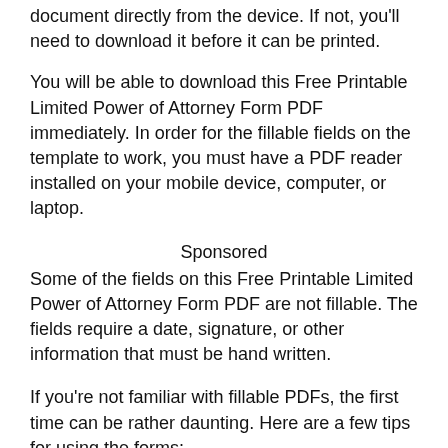document directly from the device. If not, you'll need to download it before it can be printed.
You will be able to download this Free Printable Limited Power of Attorney Form PDF immediately. In order for the fillable fields on the template to work, you must have a PDF reader installed on your mobile device, computer, or laptop.
Sponsored
Some of the fields on this Free Printable Limited Power of Attorney Form PDF are not fillable. The fields require a date, signature, or other information that must be hand written.
If you're not familiar with fillable PDFs, the first time can be rather daunting. Here are a few tips for using the forms:
Sponsored